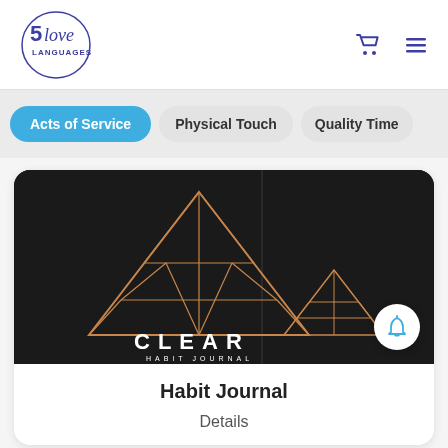[Figure (logo): 5 Love Languages logo — circular logo with text '5 love LANGUAGES' inside an oval/circle border]
Acts of Service
Physical Touch
Quality Time
[Figure (photo): Clear Habit Journal product image — black journal/notebook with gold geometric triangle logo and the text 'CLEAR HABIT JOURNAL']
Habit Journal
Details